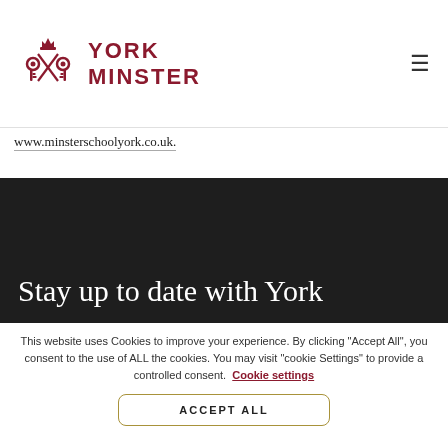[Figure (logo): York Minster logo with crossed keys and crown above, red on white, with 'YORK MINSTER' text in red serif capitals]
www.minsterschoolyork.co.uk.
Stay up to date with York
This website uses Cookies to improve your experience. By clicking “Accept All”, you consent to the use of ALL the cookies. You may visit “cookie Settings” to provide a controlled consent. Cookie settings
ACCEPT ALL